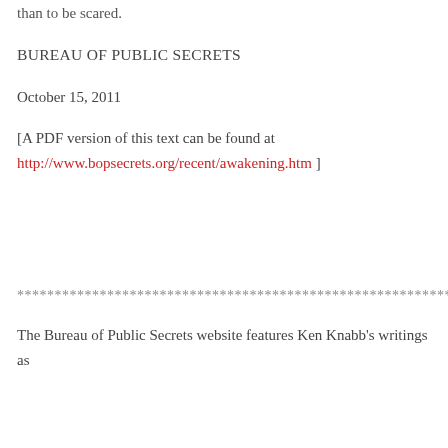than to be scared.
BUREAU OF PUBLIC SECRETS
October 15, 2011
[A PDF version of this text can be found at http://www.bopsecrets.org/recent/awakening.htm ]
************************************************************
The Bureau of Public Secrets website features Ken Knabb's writings as